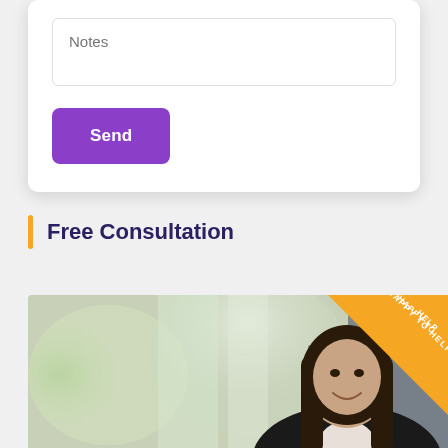Notes
Send
Free Consultation
[Figure (photo): A smiling young woman with long dark brown hair, wearing a black blazer, photographed in a bright office setting. An orange banner in the upper right corner reads 'HAPPY TO HELP'.]